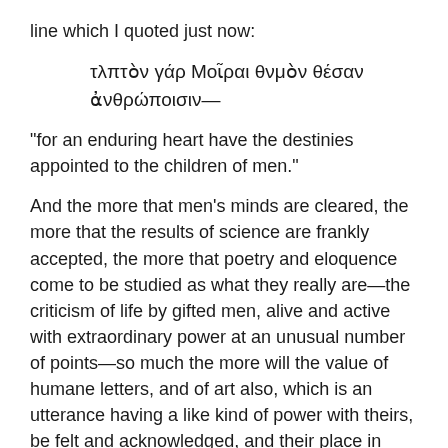line which I quoted just now:
τλπτὸν γάρ Μοῖραι θνμὸν θέσαν ἀνθρώποισιν—
"for an enduring heart have the destinies appointed to the children of men."
And the more that men's minds are cleared, the more that the results of science are frankly accepted, the more that poetry and eloquence come to be studied as what they really are—the criticism of life by gifted men, alive and active with extraordinary power at an unusual number of points—so much the more will the value of humane letters, and of art also, which is an utterance having a like kind of power with theirs, be felt and acknowledged, and their place in education be secured.
Let us, all of us, avoid as much as possible any invidious comparisons between the merits of humane letters